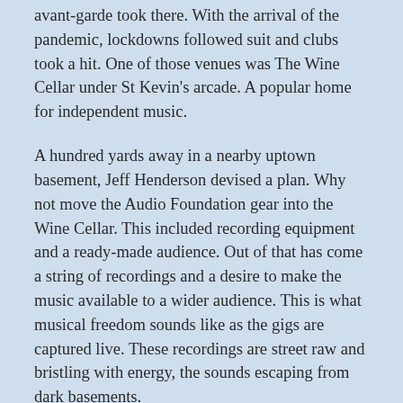avant-garde took there. With the arrival of the pandemic, lockdowns followed suit and clubs took a hit. One of those venues was The Wine Cellar under St Kevin's arcade. A popular home for independent music.
A hundred yards away in a nearby uptown basement, Jeff Henderson devised a plan. Why not move the Audio Foundation gear into the Wine Cellar. This included recording equipment and a ready-made audience. Out of that has come a string of recordings and a desire to make the music available to a wider audience. This is what musical freedom sounds like as the gigs are captured live. These recordings are street raw and bristling with energy, the sounds escaping from dark basements.
Henderson is known for taking his time over a piece and